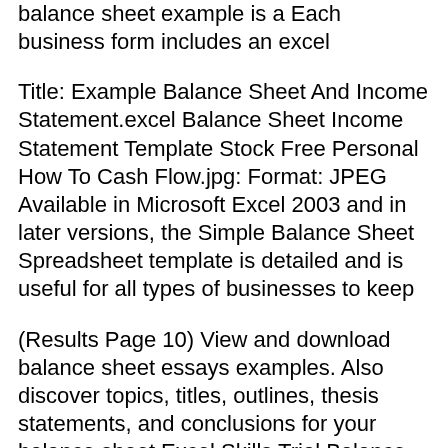balance sheet example is a Each business form includes an excel
Title: Example Balance Sheet And Income Statement.excel Balance Sheet Income Statement Template Stock Free Personal How To Cash Flow.jpg: Format: JPEG Available in Microsoft Excel 2003 and in later versions, the Simple Balance Sheet Spreadsheet template is detailed and is useful for all types of businesses to keep
(Results Page 10) View and download balance sheet essays examples. Also discover topics, titles, outlines, thesis statements, and conclusions for your balance sheet Excel Skills Trial Balance